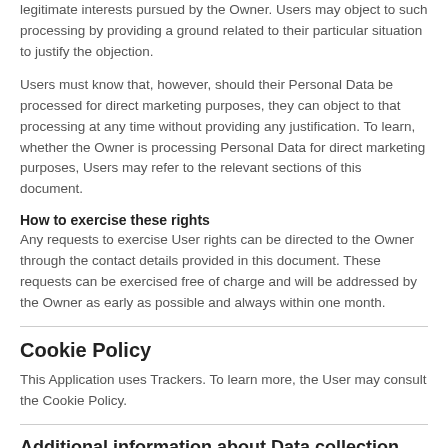legitimate interests pursued by the Owner. Users may object to such processing by providing a ground related to their particular situation to justify the objection.
Users must know that, however, should their Personal Data be processed for direct marketing purposes, they can object to that processing at any time without providing any justification. To learn, whether the Owner is processing Personal Data for direct marketing purposes, Users may refer to the relevant sections of this document.
How to exercise these rights
Any requests to exercise User rights can be directed to the Owner through the contact details provided in this document. These requests can be exercised free of charge and will be addressed by the Owner as early as possible and always within one month.
Cookie Policy
This Application uses Trackers. To learn more, the User may consult the Cookie Policy.
Additional information about Data collection and